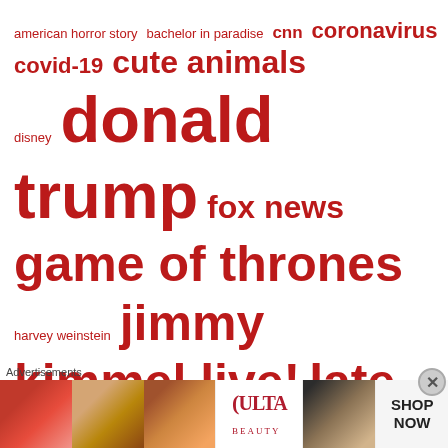[Figure (infographic): A tag/word cloud of TV show and news topic names in varying font sizes, all in dark red/crimson color on white background. Terms include: american horror story, bachelor in paradise, cnn, coronavirus, covid-19, cute animals, disney, donald trump, fox news, game of thrones, harvey weinstein, jimmy kimmel live!, late night with seth meyers, netflix, rhobh, saturday night live, stranger things, supernatural, the bachelor, the bachelorette, the daily show, the late late show with james corden, the late show with stephen colbert, the real]
[Figure (photo): Advertisement banner labeled 'Advertisements' showing ULTA beauty ad with close-up photos of lips with red lipstick, a makeup brush, an eye with makeup, the ULTA logo, close-up of eyes, and a 'SHOP NOW' button on grey background.]